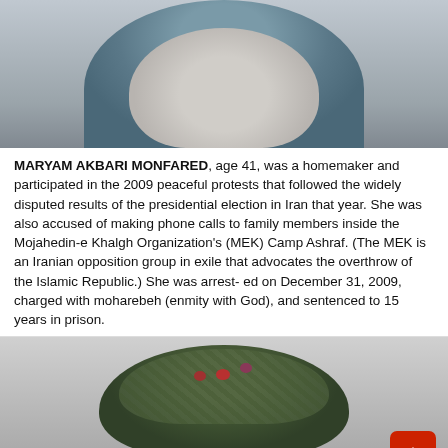[Figure (photo): Top portion of a photo showing a woman wearing a light blue/grey hijab, face partially visible, slightly blurred]
MARYAM AKBARI MONFARED, age 41, was a homemaker and participated in the 2009 peaceful protests that followed the widely disputed results of the presidential election in Iran that year. She was also accused of making phone calls to family members inside the Mojahedin-e Khalgh Organization's (MEK) Camp Ashraf. (The MEK is an Iranian opposition group in exile that advocates the overthrow of the Islamic Republic.) She was arrest- ed on December 31, 2009, charged with moharebeh (enmity with God), and sentenced to 15 years in prison.
[Figure (photo): Top portion of a photo showing a woman wearing a dark green patterned hijab/headscarf with decorative elements, face partially visible]
◄ SHARE THIS